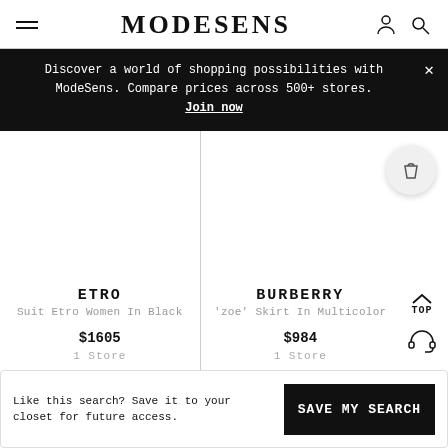MODESENS
Discover a world of shopping possibilities with ModeSens. Compare prices across 500+ stores. Join now
ETRO
Suit Etro Women In Black
$1605
1 Store
BURBERRY
'zoe' Skirt In Multicolor
$984
1 Store
Like this search? Save it to your closet for future access.